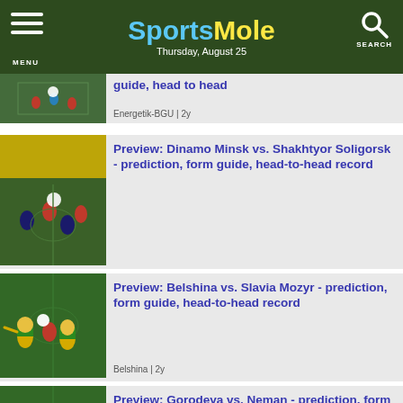SportsMole — Thursday, August 25
guide, head to head — Energetik-BGU | 2y
Preview: Dinamo Minsk vs. Shakhtyor Soligorsk - prediction, form guide, head-to-head record — 2y
Preview: Belshina vs. Slavia Mozyr - prediction, form guide, head-to-head record — Belshina | 2y
Preview: Gorodeya vs. Neman - prediction, form guide, head to head — Gorodeya | 2y
Preview: Torpedo-BelAZ vs. Smolevichi - prediction, form guide, head to head — Torpedo-BelAZ | 2y